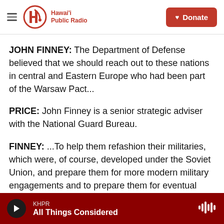Hawai'i Public Radio — Donate
JOHN FINNEY: The Department of Defense believed that we should reach out to these nations in central and Eastern Europe who had been part of the Warsaw Pact...
PRICE: John Finney is a senior strategic adviser with the National Guard Bureau.
FINNEY: ...To help them refashion their militaries, which were, of course, developed under the Soviet Union, and prepare them for more modern military engagements and to prepare them for eventual membership in NATO.
KHPR — All Things Considered